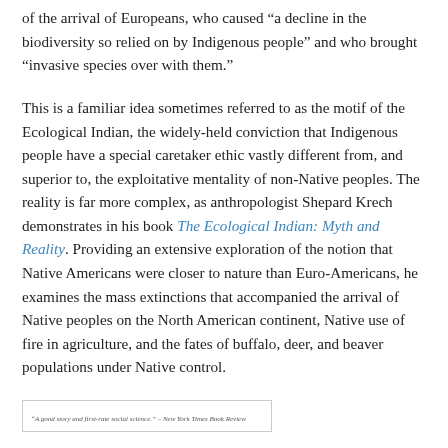of the arrival of Europeans, who caused “a decline in the biodiversity so relied on by Indigenous people” and who brought “invasive species over with them.”
This is a familiar idea sometimes referred to as the motif of the Ecological Indian, the widely-held conviction that Indigenous people have a special caretaker ethic vastly different from, and superior to, the exploitative mentality of non-Native peoples. The reality is far more complex, as anthropologist Shepard Krech demonstrates in his book The Ecological Indian: Myth and Reality. Providing an extensive exploration of the notion that Native Americans were closer to nature than Euro-Americans, he examines the mass extinctions that accompanied the arrival of Native peoples on the North American continent, Native use of fire in agriculture, and the fates of buffalo, deer, and beaver populations under Native control.
“A good story and first-rate social science.” – New York Times Book Review